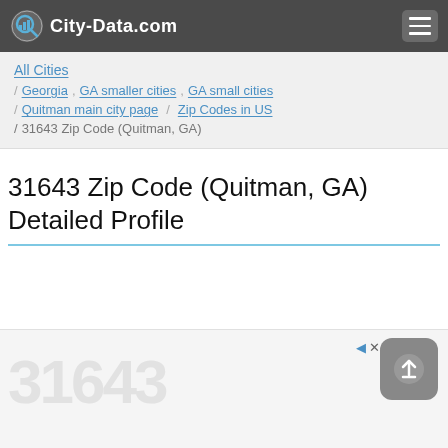City-Data.com
All Cities / Georgia , GA smaller cities , GA small cities / Quitman main city page / Zip Codes in US / 31643 Zip Code (Quitman, GA)
31643 Zip Code (Quitman, GA) Detailed Profile
[Figure (screenshot): Advertisement banner at the bottom of the page with an upload/share icon button overlay]